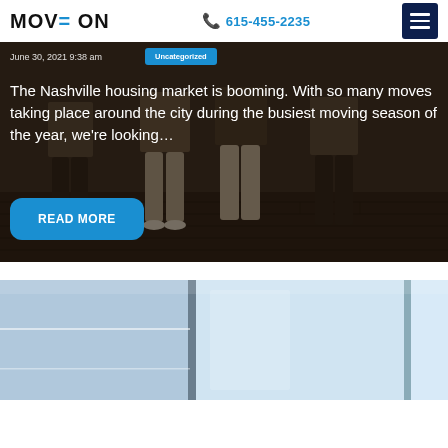MOVE ON  615-455-2235
June 30, 2021 9:38 am   Uncategorized
The Nashville housing market is booming. With so many moves taking place around the city during the busiest moving season of the year, we're looking…
READ MORE
[Figure (photo): Bottom portion of a second blog card showing a light blue window/glass door scene]